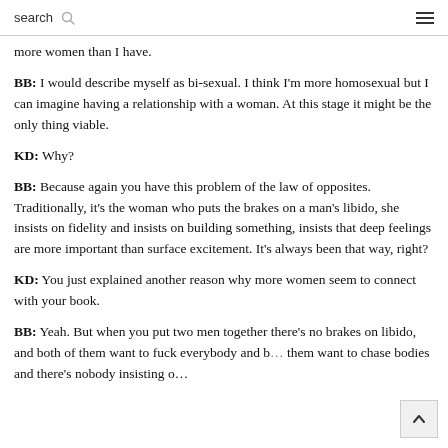search
more women than I have.
BB: I would describe myself as bi-sexual. I think I'm more homosexual but I can imagine having a relationship with a woman. At this stage it might be the only thing viable.
KD: Why?
BB: Because again you have this problem of the law of opposites. Traditionally, it's the woman who puts the brakes on a man's libido, she insists on fidelity and insists on building something, insists that deep feelings are more important than surface excitement. It's always been that way, right?
KD: You just explained another reason why more women seem to connect with your book.
BB: Yeah. But when you put two men together there's no brakes on libido, and both of them want to fuck everybody and both of them want to chase bodies and there's nobody insisting o…